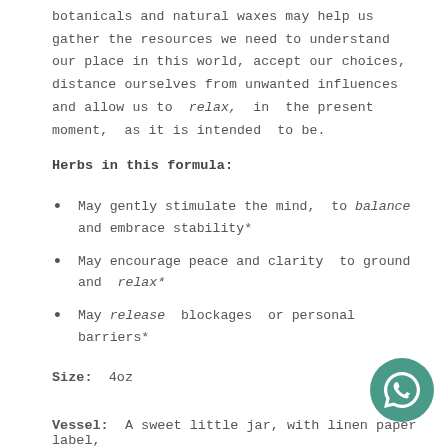botanicals and natural waxes may help us gather the resources we need to understand our place in this world, accept our choices, distance ourselves from unwanted influences and allow us to relax, in the present moment, as it is intended to be.
Herbs in this formula:
May gently stimulate the mind, to balance and embrace stability*
May encourage peace and clarity to ground and relax*
May release blockages or personal barriers*
Size: 4oz
Vessel: A sweet little jar, with linen paper label,
[Figure (logo): WhatsApp chat button icon — teal circle with white speech bubble/phone icon]